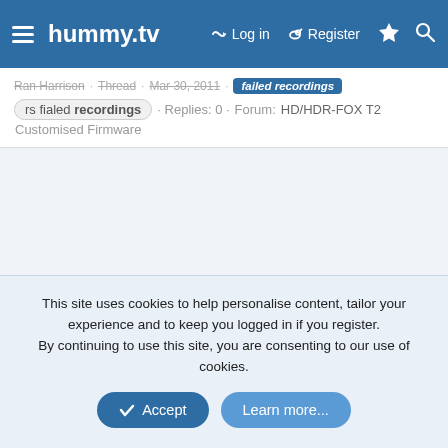hummy.tv · Log in · Register
Ran Harrison · Thread · Mar 30, 2011 · failed recordings · rs fialed recordings · Replies: 0 · Forum: HD/HDR-FOX T2 Customised Firmware
This site uses cookies to help personalise content, tailor your experience and to keep you logged in if you register. By continuing to use this site, you are consenting to our use of cookies.
Accept · Learn more...